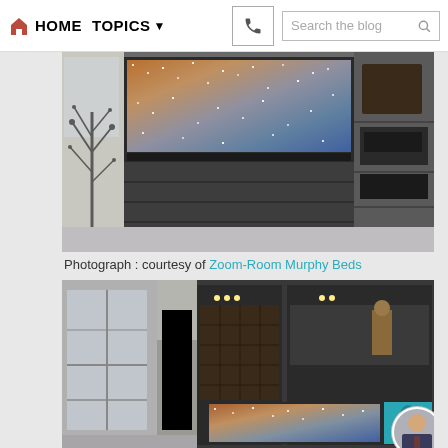HOME  TOPICS  Search the blog
[Figure (photo): Interior photo showing a Murphy bed wall unit in the closed/folded position revealing a large flat-screen TV with a sparkly mosaic image displayed, dark gray/charcoal wood cabinetry with shelving unit on the right, and a decorative metal tree sculpture on the left side.]
Photograph : courtesy of Zoom-Room Murphy Beds
[Figure (photo): Interior photo showing a living room with a large dark entertainment wall unit featuring open shelving with bottle storage and display items, a large flat-screen TV showing a colorful mosaic image, a teal/cyan accent panel, tall windows on the left, blinds visible, and a circular profile photo avatar in the bottom right corner showing a man in a suit.]